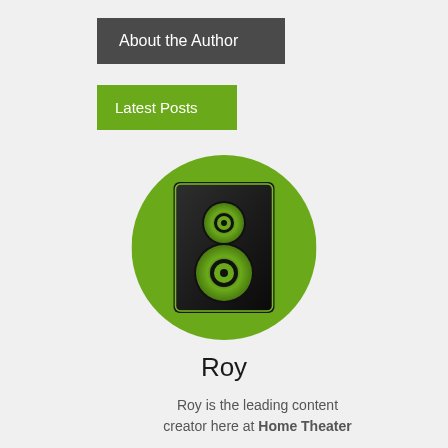About the Author
Latest Posts
[Figure (illustration): Green circle avatar with a black loudspeaker/audio speaker icon in the center, featuring two green speaker cones on a dark background]
Roy
Roy is the leading content creator here at Home Theater